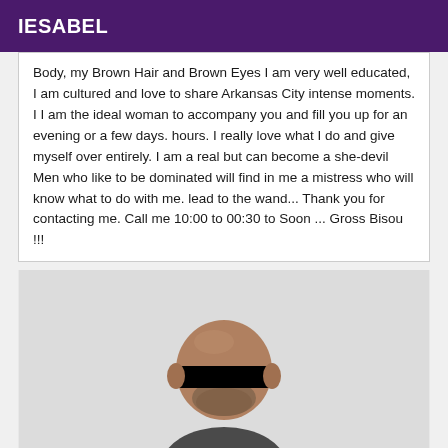IESABEL
Body, my Brown Hair and Brown Eyes I am very well educated, I am cultured and love to share Arkansas City intense moments. I I am the ideal woman to accompany you and fill you up for an evening or a few days. hours. I really love what I do and give myself over entirely. I am a real but can become a she-devil Men who like to be dominated will find in me a mistress who will know what to do with me. lead to the wand... Thank you for contacting me. Call me 10:00 to 00:30 to Soon ... Gross Bisou !!!
[Figure (photo): A bald man with a beard wearing a dark shirt, with a black bar obscuring his eyes for anonymity, photographed against a light gray/white background.]